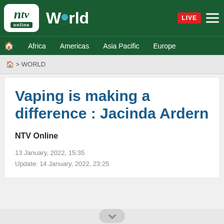NTV Online World — LIVE — navigation: Africa, Americas, Asia Pacific, Europe
🏠 > WORLD
Vaping is making a difference : Jacinda Ardern
NTV Online
13 January, 2022, 15:35
Update: 14 January, 2022, 23:25